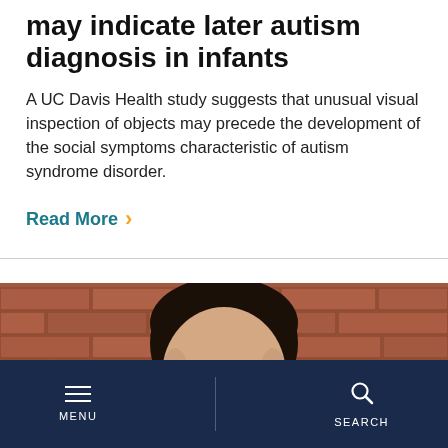may indicate later autism diagnosis in infants
A UC Davis Health study suggests that unusual visual inspection of objects may precede the development of the social symptoms characteristic of autism syndrome disorder.
Read More >
[Figure (photo): A smiling man with glasses and dark hair against a red brick wall background]
MENU   SEARCH